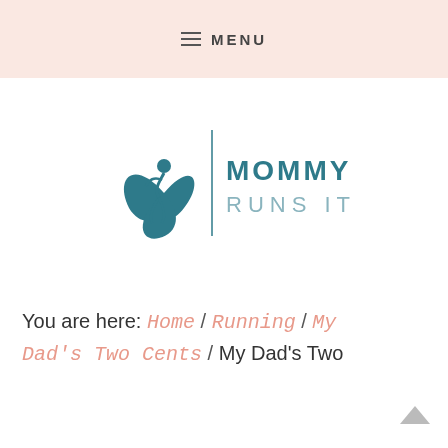MENU
[Figure (logo): Mommy Runs It logo — stylized teal flower/runner icon on left with vertical bar, and text MOMMY RUNS IT on the right in teal]
You are here: Home / Running / My Dad's Two Cents / My Dad's Two